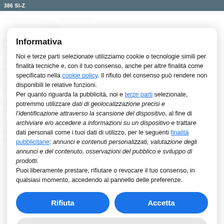386 SI-Z
Informativa
Noi e terze parti selezionate utilizziamo cookie o tecnologie simili per finalità tecniche e, con il tuo consenso, anche per altre finalità come specificato nella cookie policy. Il rifiuto del consenso può rendere non disponibili le relative funzioni.
Per quanto riguarda la pubblicità, noi e terze parti selezionate, potremmo utilizzare dati di geolocalizzazione precisi e l'identificazione attraverso la scansione del dispositivo, al fine di archiviare e/o accedere a informazioni su un dispositivo e trattare dati personali come i tuoi dati di utilizzo, per le seguenti finalità pubblicitarie: annunci e contenuti personalizzati, valutazione degli annunci e del contenuto, osservazioni del pubblico e sviluppo di prodotti.
Puoi liberamente prestare, rifiutare o revocare il tuo consenso, in qualsiasi momento, accedendo al pannello delle preferenze.
Rifiuta
Accetta
Scopri di più e personalizza